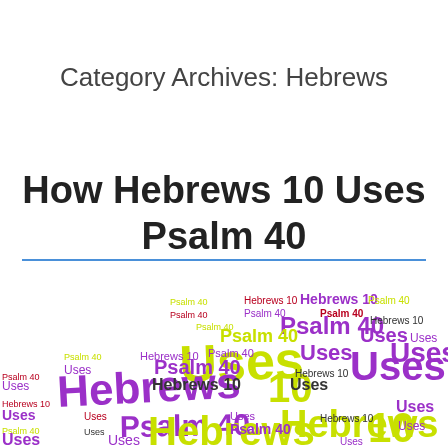Category Archives: Hebrews
How Hebrews 10 Uses Psalm 40
[Figure (infographic): Word cloud featuring the words 'Uses', 'Hebrews 10', 'Psalm 40', and 'Hebrews' in various sizes and colors (purple, yellow-green, magenta/dark pink), representing topic frequency for the article 'How Hebrews 10 Uses Psalm 40'.]